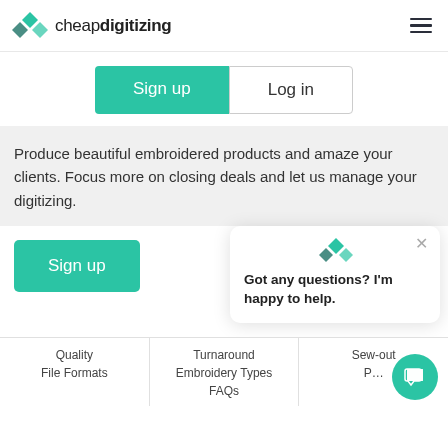cheapdigitizing
Sign up
Log in
Produce beautiful embroidered products and amaze your clients. Focus more on closing deals and let us manage your digitizing.
Sign up
Got any questions? I'm happy to help.
Quality
File Formats
Turnaround
Embroidery Types
FAQs
Sew-out
P...